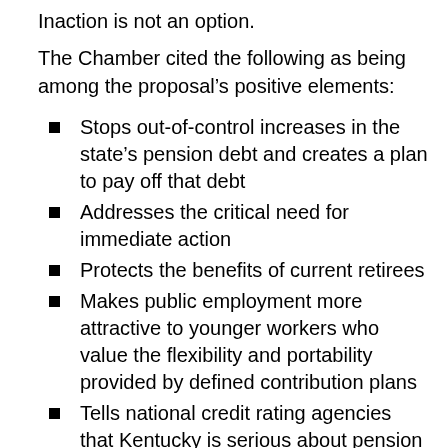Inaction is not an option.
The Chamber cited the following as being among the proposal's positive elements:
Stops out-of-control increases in the state's pension debt and creates a plan to pay off that debt
Addresses the critical need for immediate action
Protects the benefits of current retirees
Makes public employment more attractive to younger workers who value the flexibility and portability provided by defined contribution plans
Tells national credit rating agencies that Kentucky is serious about pension reform, improving the state's prospects for avoiding a credit downgrade